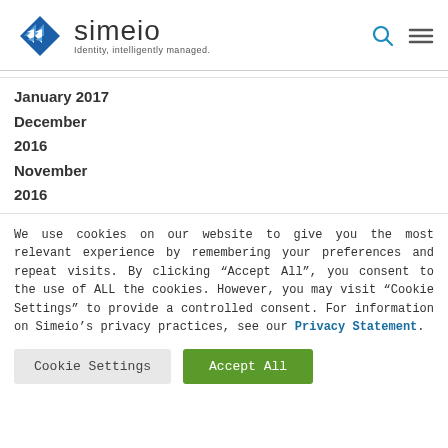[Figure (logo): Simeio logo with blue diamond/arrow icon and text 'simeio — Identity, intelligently managed.']
January 2017
December
2016
November
2016
We use cookies on our website to give you the most relevant experience by remembering your preferences and repeat visits. By clicking "Accept All", you consent to the use of ALL the cookies. However, you may visit "Cookie Settings" to provide a controlled consent. For information on Simeio's privacy practices, see our Privacy Statement.